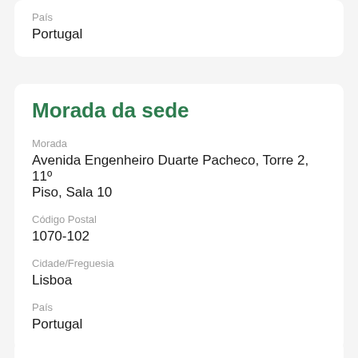País
Portugal
Morada da sede
Morada
Avenida Engenheiro Duarte Pacheco, Torre 2, 11º Piso, Sala 10
Código Postal
1070-102
Cidade/Freguesia
Lisboa
País
Portugal